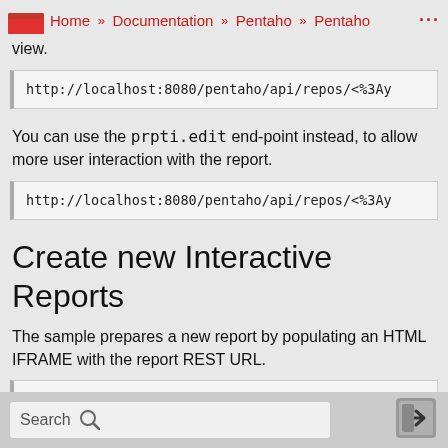Home » Documentation » Pentaho » Pentaho ...
view.
http://localhost:8080/pentaho/api/repos/<%3Ay
You can use the prpti.edit end-point instead, to allow more user interaction with the report.
http://localhost:8080/pentaho/api/repos/<%3Ay
Create new Interactive Reports
The sample prepares a new report by populating an HTML IFRAME with the report REST URL.
http://localhost:8080/...
Search